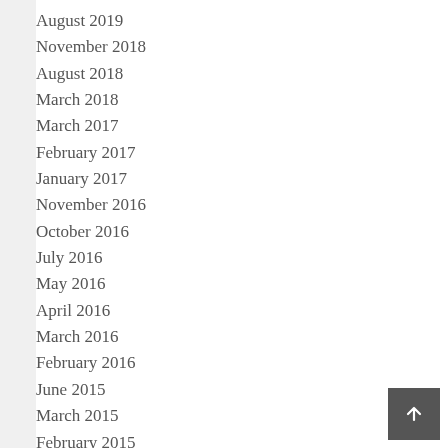August 2019
November 2018
August 2018
March 2018
March 2017
February 2017
January 2017
November 2016
October 2016
July 2016
May 2016
April 2016
March 2016
February 2016
June 2015
March 2015
February 2015
December 2014